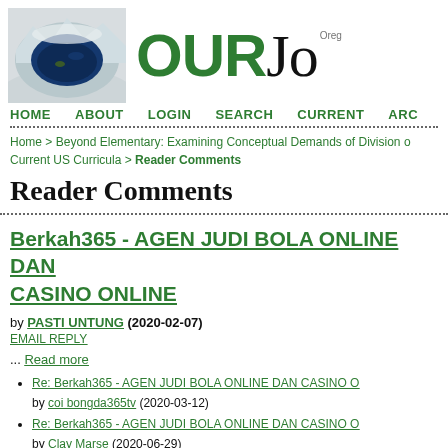[Figure (photo): Aerial photo of Crater Lake, Oregon — a dark blue lake in a volcanic caldera surrounded by snow-capped ridges, with a small island visible.]
OURJo Oregon
HOME   ABOUT   LOGIN   SEARCH   CURRENT   ARCHI
Home > Beyond Elementary: Examining Conceptual Demands of Division of Current US Curricula > Reader Comments
Reader Comments
Berkah365 - AGEN JUDI BOLA ONLINE DAN CASINO ONLINE
by PASTI UNTUNG (2020-02-07)
EMAIL REPLY
... Read more
Re: Berkah365 - AGEN JUDI BOLA ONLINE DAN CASINO O by coi bongda365tv (2020-03-12)
Re: Berkah365 - AGEN JUDI BOLA ONLINE DAN CASINO O by Clay Marse (2020-06-29)